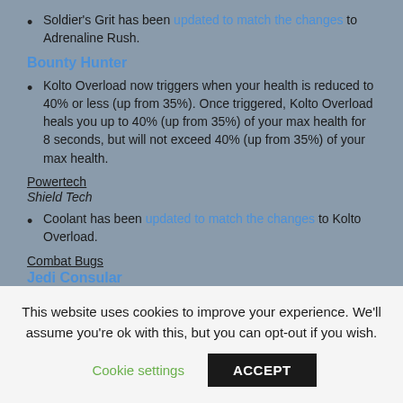Soldier's Grit has been updated to match the changes to Adrenaline Rush.
Bounty Hunter
Kolto Overload now triggers when your health is reduced to 40% or less (up from 35%). Once triggered, Kolto Overload heals you up to 40% (up from 35%) of your max health for 8 seconds, but will not exceed 40% (up from 35%) of your max health.
Powertech
Shield Tech
Coolant has been updated to match the changes to Kolto Overload.
Combat Bugs
Jedi Consular
This website uses cookies to improve your experience. We'll assume you're ok with this, but you can opt-out if you wish.